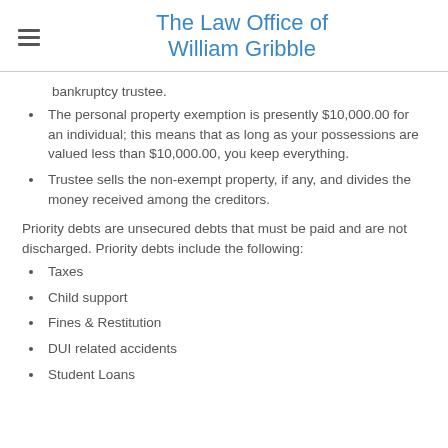The Law Office of William Gribble
bankruptcy trustee.
The personal property exemption is presently $10,000.00 for an individual; this means that as long as your possessions are valued less than $10,000.00, you keep everything.
Trustee sells the non-exempt property, if any, and divides the money received among the creditors.
Priority debts are unsecured debts that must be paid and are not discharged. Priority debts include the following:
Taxes
Child support
Fines & Restitution
DUI related accidents
Student Loans